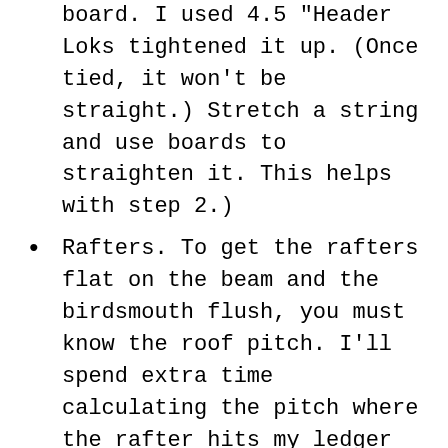board. I used 4.5 "Header Loks tightened it up. (Once tied, it won't be straight.) Stretch a string and use boards to straighten it. This helps with step 2.)
Rafters. To get the rafters flat on the beam and the birdsmouth flush, you must know the roof pitch. I'll spend extra time calculating the pitch where the rafter hits my ledger board. Once I have it, I'll temporarily tack it up and scribe the birdsmouth's size and shape. Once I get it right, I use that board as a pattern for subsequent rafters. Make sure your beam is square to the house before setting rafters. Use an engineered rafter hanger